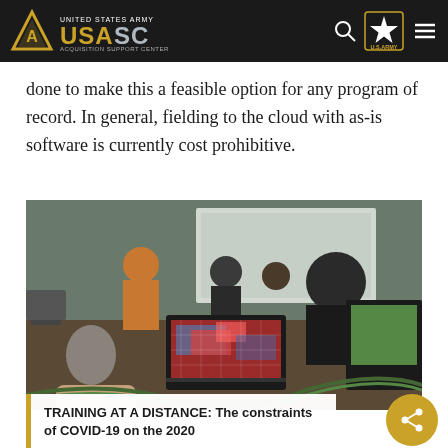UNITED STATES ARMY USAASC ACQUISITION SUPPORT CENTER
done to make this a feasible option for any program of record. In general, fielding to the cloud with as-is software is currently cost prohibitive.
[Figure (photo): Military training exercise in a conference room with personnel working at laptops displaying tactical maps; a person in an orange jacket stands in the background.]
TRAINING AT A DISTANCE: The constraints of COVID-19 on the 2020